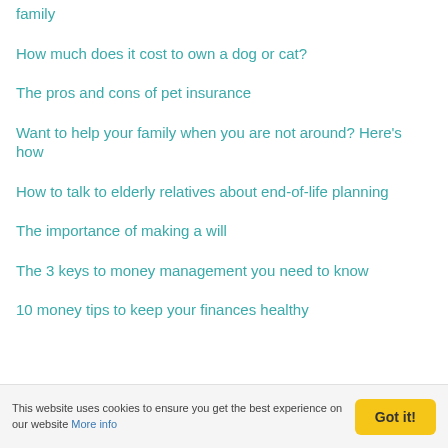family
How much does it cost to own a dog or cat?
The pros and cons of pet insurance
Want to help your family when you are not around? Here's how
How to talk to elderly relatives about end-of-life planning
The importance of making a will
The 3 keys to money management you need to know
10 money tips to keep your finances healthy
This website uses cookies to ensure you get the best experience on our website More info  Got it!